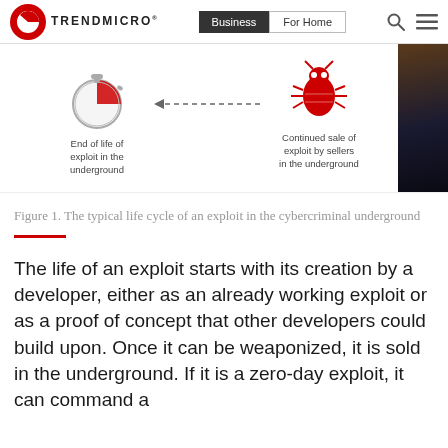Trend Micro | Business | For Home
[Figure (infographic): Infographic showing end of life of exploit in the underground (stopwatch icon) with a dashed arrow pointing left from a bug icon labeled 'Continued sale of exploit by sellers in the underground']
Figure 1. The typical life cycle of an exploit in the cybercriminal underground
The life of an exploit starts with its creation by a developer, either as an already working exploit or as a proof of concept that other developers could build upon. Once it can be weaponized, it is sold in the underground. If it is a zero-day exploit, it can command a